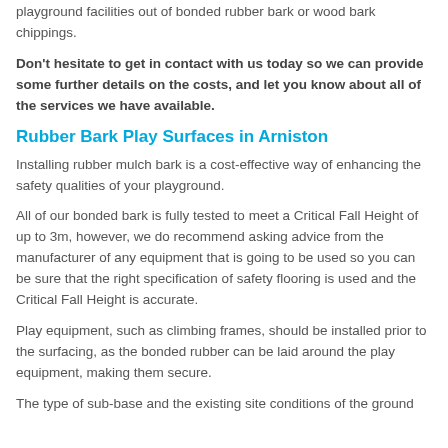playground facilities out of bonded rubber bark or wood bark chippings.
Don't hesitate to get in contact with us today so we can provide some further details on the costs, and let you know about all of the services we have available.
Rubber Bark Play Surfaces in Arniston
Installing rubber mulch bark is a cost-effective way of enhancing the safety qualities of your playground.
All of our bonded bark is fully tested to meet a Critical Fall Height of up to 3m, however, we do recommend asking advice from the manufacturer of any equipment that is going to be used so you can be sure that the right specification of safety flooring is used and the Critical Fall Height is accurate.
Play equipment, such as climbing frames, should be installed prior to the surfacing, as the bonded rubber can be laid around the play equipment, making them secure.
The type of sub-base and the existing site conditions of the ground